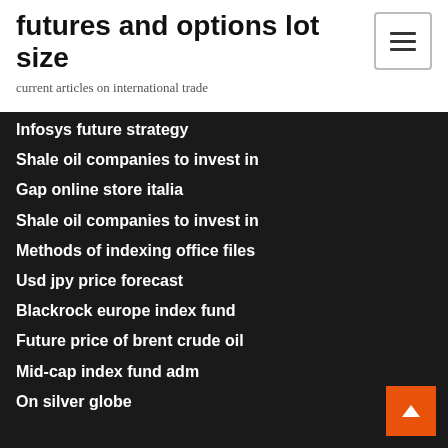futures and options lot size
current articles on international trade
Infosys future strategy
Shale oil companies to invest in
Gap online store italia
Shale oil companies to invest in
Methods of indexing office files
Usd jpy price forecast
Blackrock europe index fund
Future price of brent crude oil
Mid-cap index fund adm
On silver globe